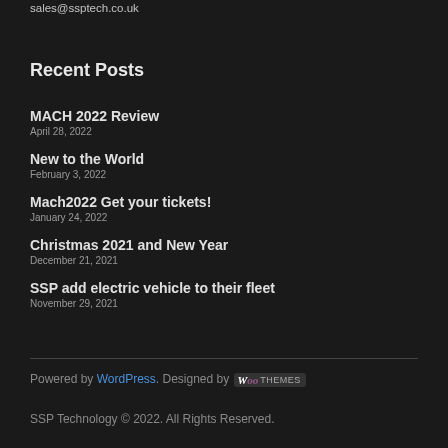sales@ssptech.co.uk
Recent Posts
MACH 2022 Review
April 28, 2022
New to the World
February 3, 2022
Mach2022 Get your tickets!
January 24, 2022
Christmas 2021 and New Year
December 21, 2021
SSP add electric vehicle to their fleet
November 29, 2021
Powered by WordPress. Designed by WooThemes
SSP Technology © 2022. All Rights Reserved.